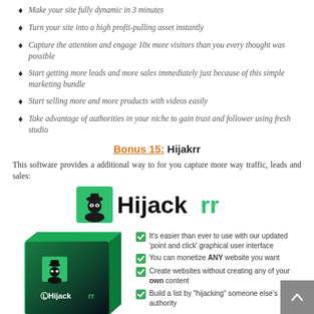Make your site fully dynamic in 3 minutes
Turn your site into a high profit-pulling asset instantly
Capture the attention and engage 10x more visitors than you every thought was possible
Start getting more leads and more sales immediately just because of this simple marketing bundle
Start selling more and more products with videos easily
Take advantage of authorities in your niche to gain trust and follower using fresh studio
Bonus 15: Hijakrr
This software provides a additional way to for you capture more way traffic, leads and sales:
[Figure (logo): Hijackrr logo with spy figure icon in green square and bold black/teal text]
[Figure (infographic): Hijackrr product box image on left; feature bullet list on right with checkmarks: It's easier than ever to use with our updated 'point and click' graphical user interface; You can monetize ANY website you want; Create websites without creating any of your own content; Build a list by 'hijacking' someone else's authority]